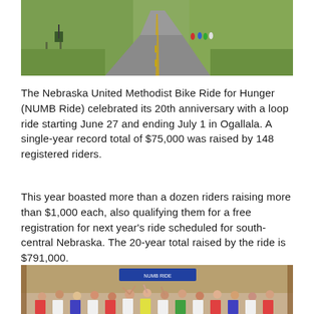[Figure (photo): Aerial view of a rural road through green fields with cyclists/runners visible in the distance on the right side of the road]
The Nebraska United Methodist Bike Ride for Hunger (NUMB Ride) celebrated its 20th anniversary with a loop ride starting June 27 and ending July 1 in Ogallala. A single-year record total of $75,000 was raised by 148 registered riders.
This year boasted more than a dozen riders raising more than $1,000 each, also qualifying them for a free registration for next year's ride scheduled for south-central Nebraska. The 20-year total raised by the ride is $791,000.
[Figure (photo): Group photo of many people inside a building, some with arms raised, appearing to celebrate]